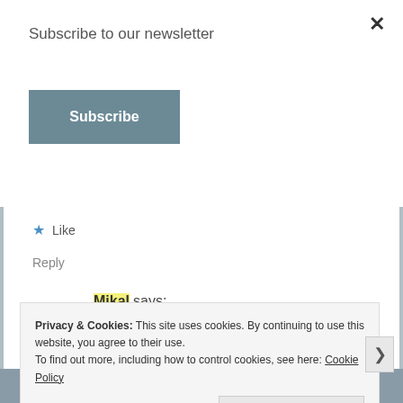Subscribe to our newsletter
Subscribe
Like
Reply
Mikal says:
March 19, 2019 at 11:23 am
Oh, Savannah is gorgeous!!! We lived in middle Georgia for a while, and Savannah was a favorite place
Privacy & Cookies: This site uses cookies. By continuing to use this website, you agree to their use.
To find out more, including how to control cookies, see here: Cookie Policy
Close and accept